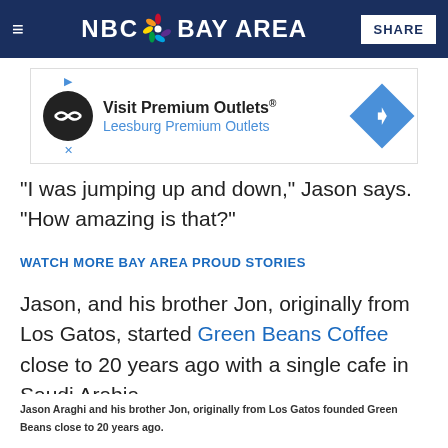NBC Bay Area
[Figure (infographic): Advertisement banner: Visit Premium Outlets® — Leesburg Premium Outlets]
"I was jumping up and down," Jason says. "How amazing is that?"
WATCH MORE BAY AREA PROUD STORIES
Jason, and his brother Jon, originally from Los Gatos, started Green Beans Coffee close to 20 years ago with a single cafe in Saudi Arabia.
Jason Araghi and his brother Jon, originally from Los Gatos founded Green Beans close to 20 years ago.